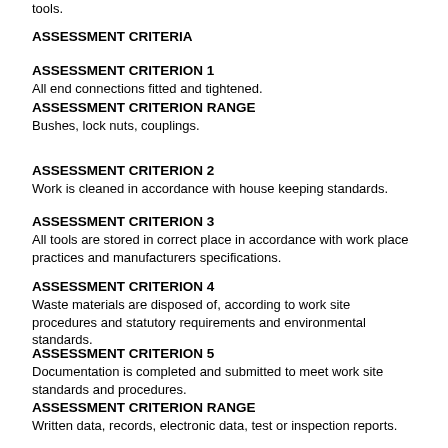tools.
ASSESSMENT CRITERIA
ASSESSMENT CRITERION 1
All end connections fitted and tightened.
ASSESSMENT CRITERION RANGE
Bushes, lock nuts, couplings.
ASSESSMENT CRITERION 2
Work is cleaned in accordance with house keeping standards.
ASSESSMENT CRITERION 3
All tools are stored in correct place in accordance with work place practices and manufacturers specifications.
ASSESSMENT CRITERION 4
Waste materials are disposed of, according to work site procedures and statutory requirements and environmental standards.
ASSESSMENT CRITERION 5
Documentation is completed and submitted to meet work site standards and procedures.
ASSESSMENT CRITERION RANGE
Written data, records, electronic data, test or inspection reports.